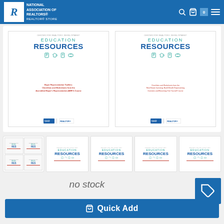NATIONAL ASSOCIATION OF REALTORS® REALTOR® STORE
[Figure (screenshot): Two Education Resources covers from Center for REALTOR Development side by side. Left cover: Buyer Representation Toolkits: Checklists and Worksheets from the Accredited Buyer's Representative (ABR®) Course. Right cover: Checklists and Worksheets from the Real Estate Investing: Build Wealth Representing Investors and Becoming One Yourself Course.]
[Figure (screenshot): Five product thumbnail images: first is a grid of four Education Resources covers, second through fifth are individual Education Resources covers]
no stock
Quick Add